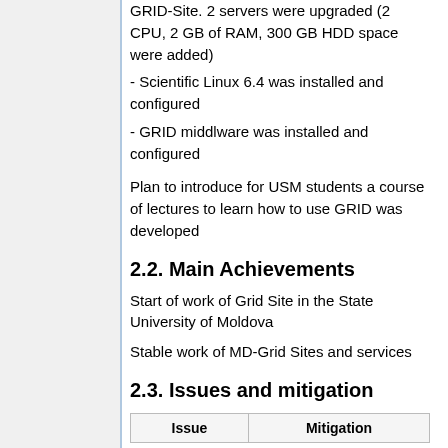GRID-Site. 2 servers were upgraded (2 CPU, 2 GB of RAM, 300 GB HDD space were added)
- Scientific Linux 6.4 was installed and configured
- GRID middlware was installed and configured
Plan to introduce for USM students a course of lectures to learn how to use GRID was developed
2.2. Main Achievements
Start of work of Grid Site in the State University of Moldova
Stable work of MD-Grid Sites and services
2.3. Issues and mitigation
| Issue | Mitigation |
| --- | --- |